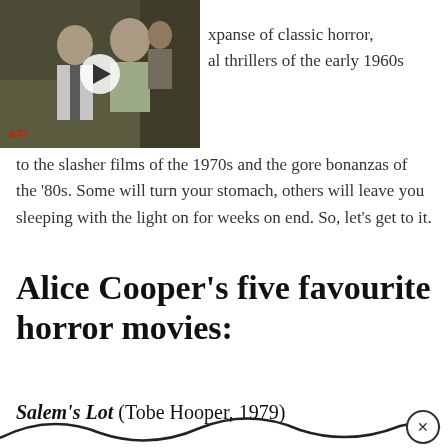[Figure (photo): Black and white video thumbnail showing two people, with AFI label and play button overlay]
xpanse of classic horror, al thrillers of the early 1960s to the slasher films of the 1970s and the gore bonanzas of the '80s. Some will turn your stomach, others will leave you sleeping with the light on for weeks on end. So, let's get to it.
Alice Cooper's five favourite horror movies:
Salem's Lot (Tobe Hooper, 1979)